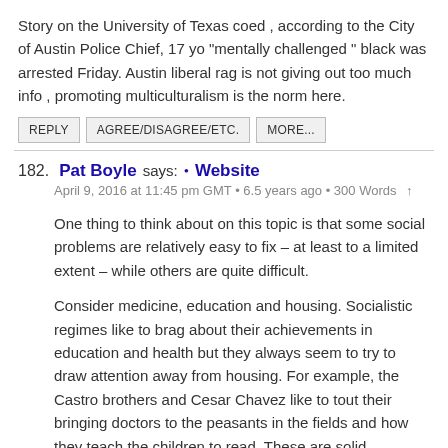Story on the University of Texas coed , according to the City of Austin Police Chief, 17 yo "mentally challenged " black was arrested Friday. Austin liberal rag is not giving out too much info , promoting multiculturalism is the norm here.
REPLY
AGREE/DISAGREE/ETC.
MORE...
182. Pat Boyle says: • Website
April 9, 2016 at 11:45 pm GMT • 6.5 years ago • 300 Words ↑
One thing to think about on this topic is that some social problems are relatively easy to fix – at least to a limited extent – while others are quite difficult.
Consider medicine, education and housing. Socialistic regimes like to brag about their achievements in education and health but they always seem to try to draw attention away from housing. For example, the Castro brothers and Cesar Chavez like to tout their bringing doctors to the peasants in the fields and how they teach the children to read. These are solid